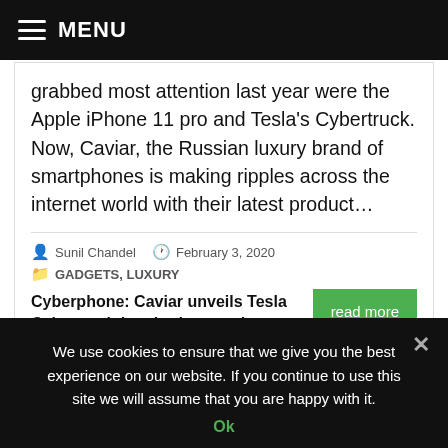≡ MENU
grabbed most attention last year were the Apple iPhone 11 pro and Tesla's Cybertruck. Now, Caviar, the Russian luxury brand of smartphones is making ripples across the internet world with their latest product…
Sunil Chandel  February 3, 2020  GADGETS, LUXURY
Cyberphone: Caviar unveils Tesla Cybertruck-inspired smartphone
read more
We use cookies to ensure that we give you the best experience on our website. If you continue to use this site we will assume that you are happy with it.
Ok